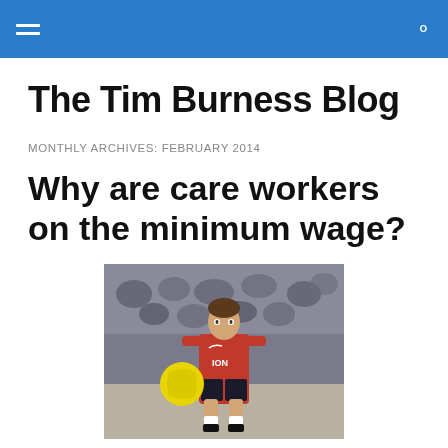The Tim Burness Blog — navigation header with hamburger menu and search icon
The Tim Burness Blog
MONTHLY ARCHIVES: FEBRUARY 2014
Why are care workers on the minimum wage?
[Figure (photo): A footballer wearing a red Manchester United kit (Wayne Rooney) controlling a yellow ball, with a crowd in the background]